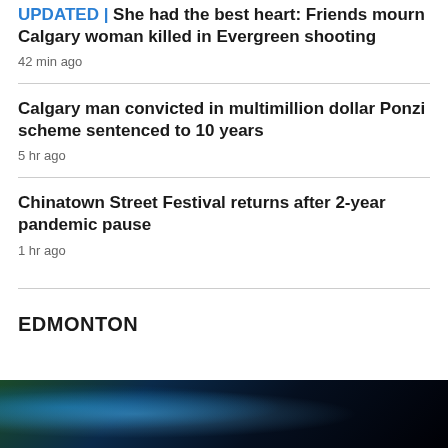UPDATED| She had the best heart: Friends mourn Calgary woman killed in Evergreen shooting
42 min ago
Calgary man convicted in multimillion dollar Ponzi scheme sentenced to 10 years
5 hr ago
Chinatown Street Festival returns after 2-year pandemic pause
1 hr ago
EDMONTON
[Figure (photo): Photo thumbnail showing a nighttime scene with blue and green lighting]